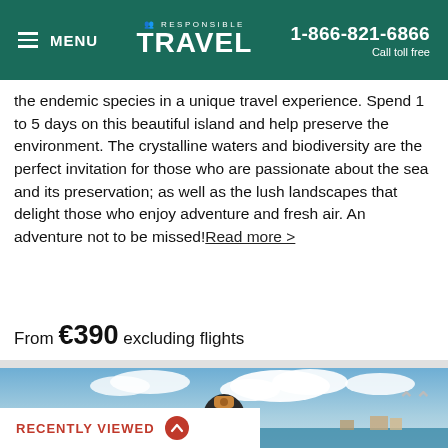MENU | RESPONSIBLE TRAVEL | 1-866-821-6866 Call toll free
the endemic species in a unique travel experience. Spend 1 to 5 days on this beautiful island and help preserve the environment. The crystalline waters and biodiversity are the perfect invitation for those who are passionate about the sea and its preservation; as well as the lush landscapes that delight those who enjoy adventure and fresh air. An adventure not to be missed! Read more >
From €390 excluding flights
[Figure (photo): A diver wearing a full wetsuit hood and diving mask, photographed from below/front angle with blue sky and clouds in background, green vegetation and buildings visible on shoreline in distance.]
RECENTLY VIEWED